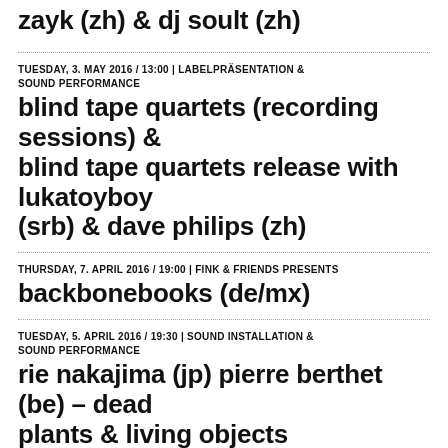zayk (zh) & dj soult (zh)
TUESDAY, 3. MAY 2016 / 13:00 | LABELPRÄSENTATION & SOUND PERFORMANCE
blind tape quartets (recording sessions) & blind tape quartets release with lukatoyboy (srb) & dave philips (zh)
THURSDAY, 7. APRIL 2016 / 19:00 | FINK & FRIENDS PRESENTS
backbonebooks (de/mx)
TUESDAY, 5. APRIL 2016 / 19:30 | SOUND INSTALLATION & SOUND PERFORMANCE
rie nakajima (jp) pierre berthet (be) – dead plants & living objects
WEDNESDAY, 30. MARCH 2016 / 19:30 | OOR ZU GAST & PERFORMANCE & SOUND PERFORMANCE